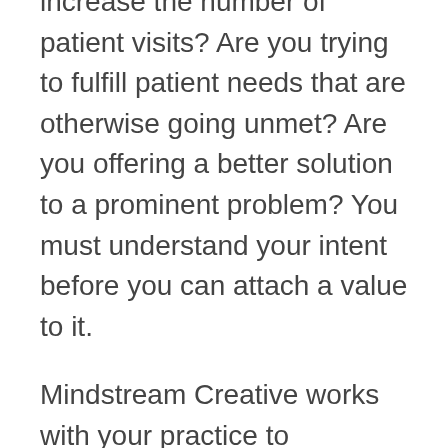increase the number of patient visits? Are you trying to fulfill patient needs that are otherwise going unmet? Are you offering a better solution to a prominent problem? You must understand your intent before you can attach a value to it.
Mindstream Creative works with your practice to determine that value. Through healthcare consulting and social media management, we can create a strategic marketing plan that can meet your practice's needs in the most efficient manner. Driving social media ROI starts with a vision. Come share yours with us!